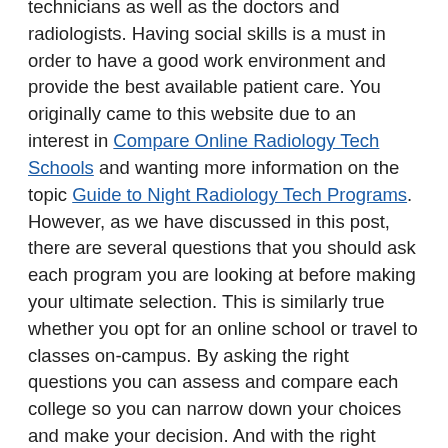technicians as well as the doctors and radiologists. Having social skills is a must in order to have a good work environment and provide the best available patient care. You originally came to this website due to an interest in Compare Online Radiology Tech Schools and wanting more information on the topic Guide to Night Radiology Tech Programs. However, as we have discussed in this post, there are several questions that you should ask each program you are looking at before making your ultimate selection. This is similarly true whether you opt for an online school or travel to classes on-campus. By asking the right questions you can assess and compare each college so you can narrow down your choices and make your decision. And with the right education and your motivation to succeed, you can reach your goal to practice as a X-ray tech in Empire CA.
Other California Diagnostic Locations
Top X Ray Tech Schools Napa CA